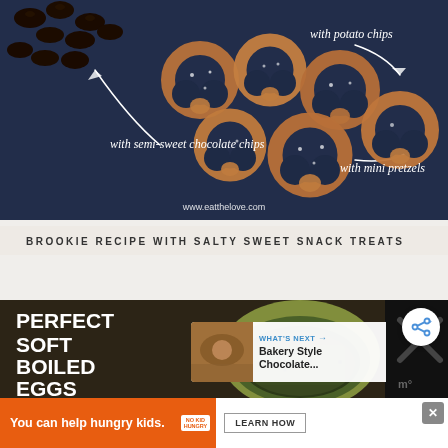[Figure (photo): Top-down photo of mini pretzels and chocolate chips on a dark navy/slate background. White italic text labels annotate: 'with potato chips' (top right), 'with semi-sweet chocolate chips' (left), 'with mini pretzels' (bottom right). URL 'www.eatthelove.com' shown at bottom center.]
BROOKIE RECIPE WITH SALTY SWEET SNACK TREATS
[Figure (photo): Bottom card showing 'PERFECT SOFT BOILED EGGS' text on dark background with a bowl of spices/pepper. 'What's Next' card overlaid showing 'Bakery Style Chocolate...' with thumbnail. Share button (circle with share icon) in top right of card. URL www.eatthelove.com shown.]
[Figure (infographic): Orange advertisement banner: 'You can help hungry kids.' with No Kid Hungry logo and 'LEARN HOW' button. Close (X) button in top right corner.]